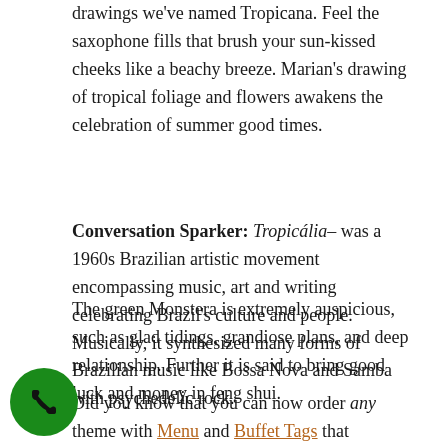drawings we've named Tropicana. Feel the saxophone fills that brush your sun-kissed cheeks like a beachy breeze. Marian's drawing of tropical foliage and flowers awakens the celebration of summer good times.
Conversation Sparker: Tropicália– was a 1960s Brazilian artistic movement encompassing music, art and writing celebrating Brazil's culture and people. Musically, it synthesized many forms of Brazilian music like Bossa Nova and Samba with psychedelic rock.
The green Monstera is extremely auspicious, such as glad tidings, grandiose plans, and deep relationship. Further it is said to bring good luck and money in feng shui.
Did you know that you can now order any theme with Menu and Buffet Tags that coordinate with your place cards!
[Figure (illustration): Green circular button with a telephone/phone receiver icon in black]